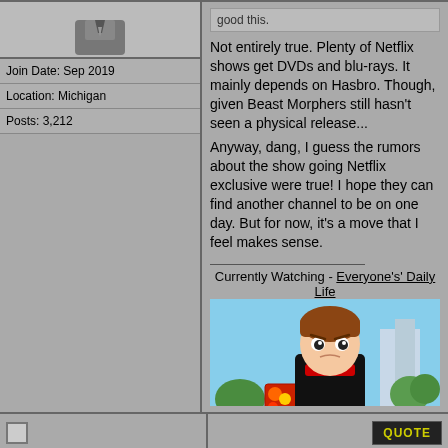[Figure (illustration): User avatar showing a figure in grey/dark clothing, partial view]
Join Date: Sep 2019
Location: Michigan
Posts: 3,212
good this.
Not entirely true. Plenty of Netflix shows get DVDs and blu-rays. It mainly depends on Hasbro. Though, given Beast Morphers still hasn't seen a physical release...
Anyway, dang, I guess the rumors about the show going Netflix exclusive were true! I hope they can find another channel to be on one day. But for now, it's a move that I feel makes sense.
Currently Watching - Everyone's' Daily Life
[Figure (screenshot): Anime screenshot showing a brown-haired male character in a black coat with red scarf, standing at what appears to be a station or outdoor area, with text 'Please don't explain the gag!' at the bottom]
QUOTE